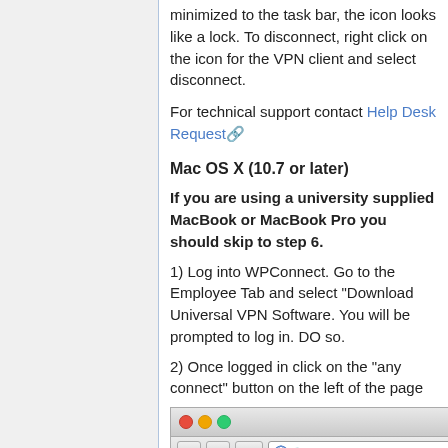minimized to the task bar, the icon looks like a lock. To disconnect, right click on the icon for the VPN client and select disconnect.
For technical support contact Help Desk Request
Mac OS X (10.7 or later)
If you are using a university supplied MacBook or MacBook Pro you should skip to step 6.
1) Log into WPConnect. Go to the Employee Tab and select "Download Universal VPN Software. You will be prompted to log in. DO so.
2) Once logged in click on the "any connect" button on the left of the page
[Figure (screenshot): Browser window showing https://vpn.wpunj.edu/ address bar with navigation buttons]